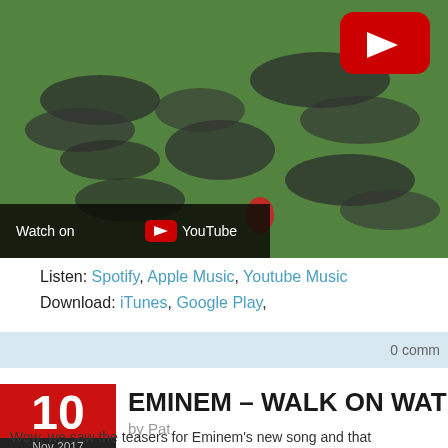[Figure (screenshot): YouTube video thumbnail showing aerial view of people forming a shape on green grass, with red YouTube play button in top right, and 'Watch on YouTube' bar at bottom left]
Listen: Spotify, Apple Music, Youtube Music
Download: iTunes, Google Play,
0 comm
[Figure (other): Red date badge showing '10 Nov 2017']
EMINEM – WALK ON WAT
by Pat
Wow, we saw the teasers for Eminem's new song and that